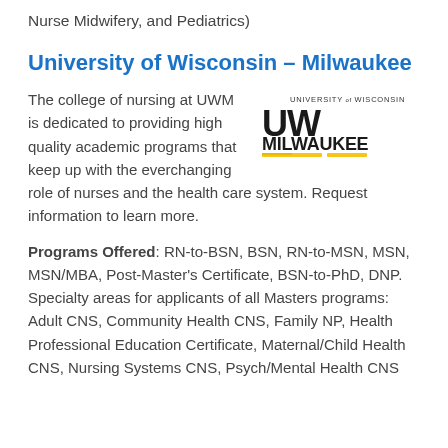Nurse Midwifery, and Pediatrics)
University of Wisconsin – Milwaukee
[Figure (logo): University of Wisconsin Milwaukee logo with UWM letters and yellow underline graphic]
The college of nursing at UWM is dedicated to providing high quality academic programs that keep up with the everchanging role of nurses and the health care system. Request information to learn more.
Programs Offered: RN-to-BSN, BSN, RN-to-MSN, MSN, MSN/MBA, Post-Master's Certificate, BSN-to-PhD, DNP. Specialty areas for applicants of all Masters programs: Adult CNS, Community Health CNS, Family NP, Health Professional Education Certificate, Maternal/Child Health CNS, Nursing Systems CNS, Psych/Mental Health CNS